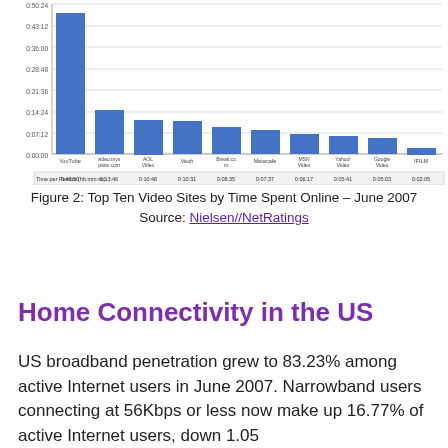[Figure (bar-chart): Top Ten Video Sites by Time Spent Online – June 2007]
Figure 2: Top Ten Video Sites by Time Spent Online – June 2007
Source: Nielsen//NetRatings
Home Connectivity in the US
US broadband penetration grew to 83.23% among active Internet users in June 2007. Narrowband users connecting at 56Kbps or less now make up 16.77% of active Internet users, down 1.05